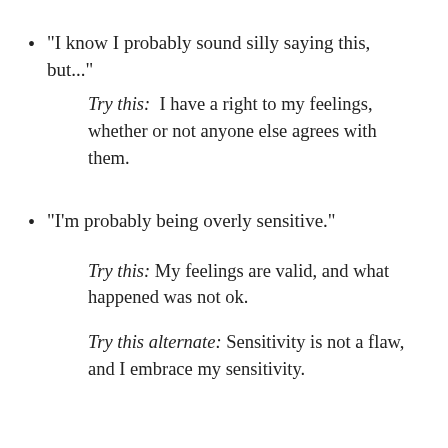“I know I probably sound silly saying this, but...”
Try this:  I have a right to my feelings, whether or not anyone else agrees with them.
“I’m probably being overly sensitive.”
Try this: My feelings are valid, and what happened was not ok.
Try this alternate: Sensitivity is not a flaw, and I embrace my sensitivity.